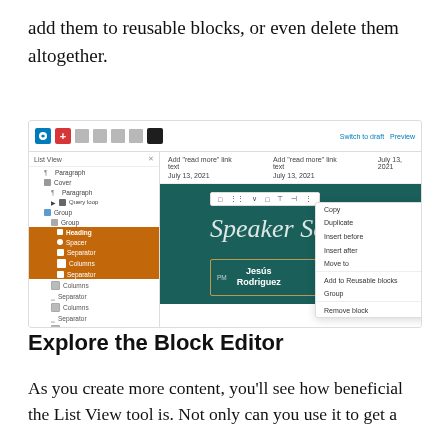add them to reusable blocks, or even delete them altogether.
[Figure (screenshot): WordPress Block Editor screenshot showing the List View panel on the left with a hierarchy of blocks (Paragraph, Cover, Group, etc.), and the main editor area on the right showing a teal 'Speaker Series' design with a context menu open displaying options: Copy, Duplicate (Ctrl+D), Insert before (Ctrl+Alt+T), Insert after (Ctrl+Alt+Y), Move to, Add to Reusable blocks, Group, Remove block.]
Explore the Block Editor
As you create more content, you'll see how beneficial the List View tool is. Not only can you use it to get a